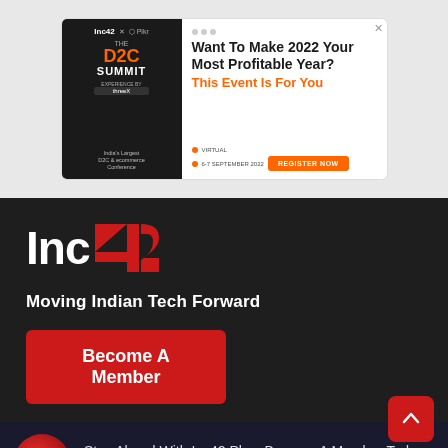[Figure (screenshot): Advertisement banner for The D2C Summit - 'Want To Make 2022 Your Most Profitable Year? This Event Is For You' with Register Now button]
[Figure (logo): Inc42 logo - white Inc text with red 42 numeral]
Moving Indian Tech Forward
Become A Member
Stay Ahead With Inc42 Plus. Become A Member Today At 50% OFF. Get Offer